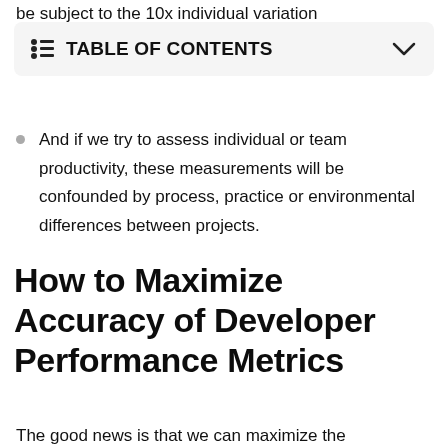be subject to the 10x individual variation
TABLE OF CONTENTS
And if we try to assess individual or team productivity, these measurements will be confounded by process, practice or environmental differences between projects.
How to Maximize Accuracy of Developer Performance Metrics
The good news is that we can maximize the